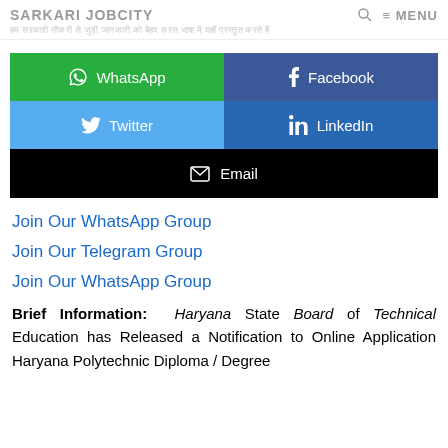SARKARI JOBCITY  🔍  ≡ MENU
[Figure (screenshot): Social share buttons: WhatsApp (green), Facebook (dark blue), Twitter (light blue), LinkedIn (blue), Email (black)]
Join Our WhatsApp Group
Join Our Telegram Group
Join Our WhatsApp Group
Brief Information: Haryana State Board of Technical Education has Released a Notification to Online Application Haryana Polytechnic Diploma / Degree